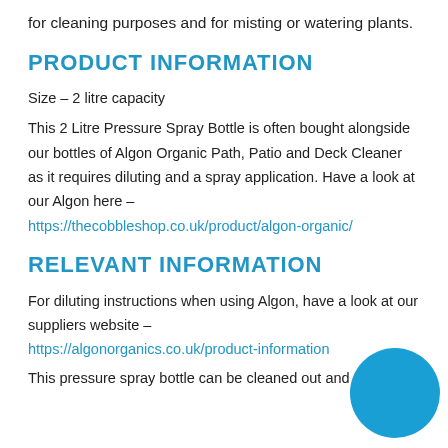for cleaning purposes and for misting or watering plants.
PRODUCT INFORMATION
Size – 2 litre capacity
This 2 Litre Pressure Spray Bottle is often bought alongside our bottles of Algon Organic Path, Patio and Deck Cleaner as it requires diluting and a spray application. Have a look at our Algon here – https://thecobbleshop.co.uk/product/algon-organic/
RELEVANT INFORMATION
For diluting instructions when using Algon, have a look at our suppliers website – https://algonorganics.co.uk/product-information
This pressure spray bottle can be cleaned out and re